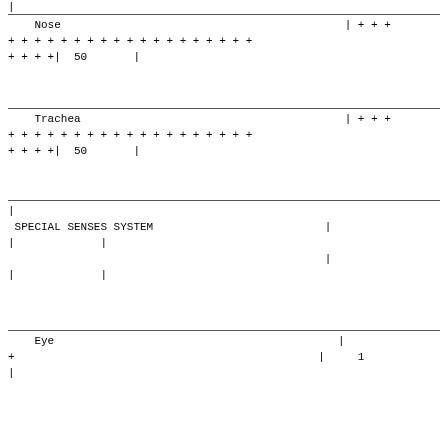| Nose | | + + + |
| + + + + + + + + + + + + + + + + + + |
| + + + +|  50       | |
| Trachea | | + + + |
| + + + + + + + + + + + + + + + + + + |
| + + + +|  50       | |
| | |
| SPECIAL SENSES SYSTEM | | |
| | | | |
|  | | |
| | | | |
| Eye | | |
| + | |     1 |
| | |